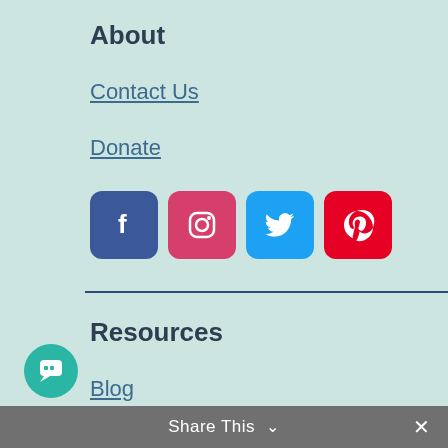About
Contact Us
Donate
[Figure (infographic): Social media icons: Facebook (blue), Instagram (pink/red gradient), Twitter (blue), Pinterest (red)]
Resources
Blog
Zero Waste Meal Plan
Swaps Guide (partially visible)
Share This ∨  ×